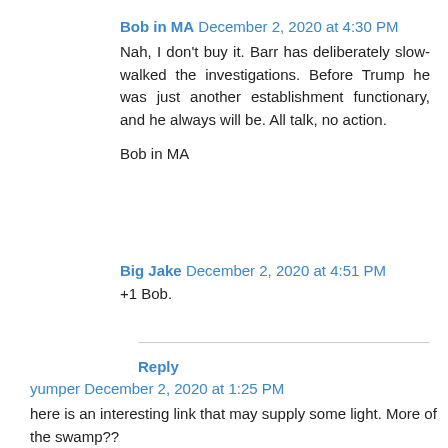Bob in MA  December 2, 2020 at 4:30 PM
Nah, I don't buy it. Barr has deliberately slow-walked the investigations. Before Trump he was just another establishment functionary, and he always will be. All talk, no action.
Bob in MA
Big Jake  December 2, 2020 at 4:51 PM
+1 Bob.
Reply
yumper  December 2, 2020 at 1:25 PM
here is an interesting link that may supply some light. More of the swamp??